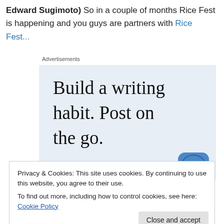Edward Sugimoto) So in a couple of months Rice Fest is happening and you guys are partners with Rice Fest...
Advertisements
[Figure (illustration): Advertisement banner with light blue background. Large serif text reads 'Build a writing habit. Post on the go.' with 'GET THE APP' call-to-action and WordPress logo icon.]
Privacy & Cookies: This site uses cookies. By continuing to use this website, you agree to their use.
To find out more, including how to control cookies, see here: Cookie Policy
(partial bottom text)